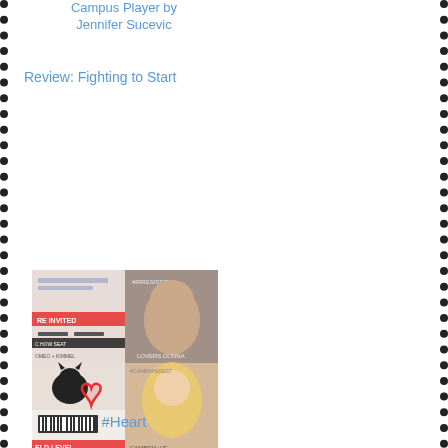Campus Player by Jennifer Sucevic
Review: Fighting to Forgive
Review: Fighting to Start
[Figure (photo): Book cover for 'This is Falling' showing two people about to kiss, lying on a beach]
Review: This is Falling
[Figure (photo): Collage book cover for '#Heart' by Cambria He, featuring multiple images including a concert ticket, a black cat, lovers, and a blonde woman]
#Heart